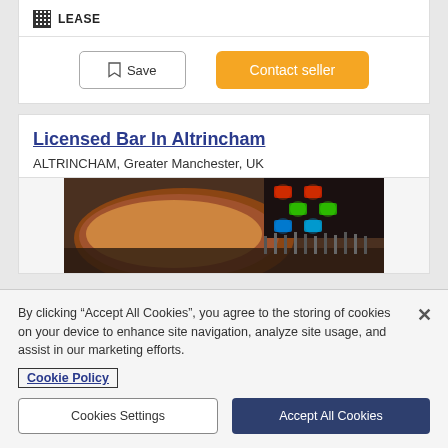LEASE
Save
Contact seller
Licensed Bar In Altrincham
ALTRINCHAM, Greater Manchester, UK
[Figure (photo): Interior of a bar with colorful ceiling lights (red, green, blue) and a curved wooden feature element]
By clicking "Accept All Cookies", you agree to the storing of cookies on your device to enhance site navigation, analyze site usage, and assist in our marketing efforts.
Cookie Policy
Cookies Settings
Accept All Cookies